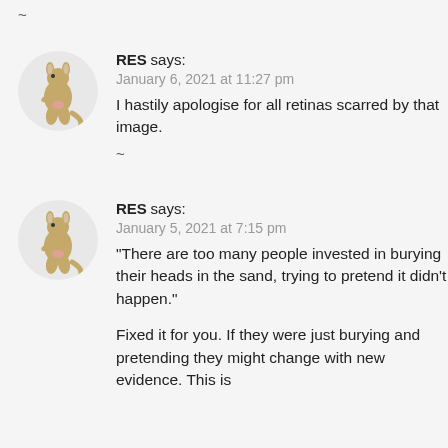~
[Figure (illustration): Kangaroo avatar icon for user RES]
RES says:
January 6, 2021 at 11:27 pm
I hastily apologise for all retinas scarred by that image.
~
[Figure (illustration): Kangaroo avatar icon for user RES]
RES says:
January 5, 2021 at 7:15 pm
"There are too many people invested in burying their heads in the sand, trying to pretend it didn't happen."

Fixed it for you. If they were just burying and pretending they might change with new evidence. This is